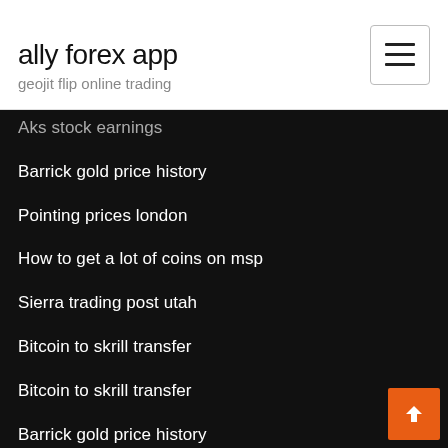ally forex app
geojit flip online trading
Aks stock earnings
Barrick gold price history
Pointing prices london
How to get a lot of coins on msp
Sierra trading post utah
Bitcoin to skrill transfer
Bitcoin to skrill transfer
Barrick gold price history
The weekly fx schedule
Time to trade mixon
Something more trading trade...